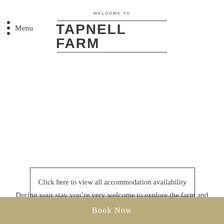WELCOME TO TAPNELL FARM
Menu
Click here to view all accommodation availability
During your stay you’re very welcome to explore the farm and
Book Now